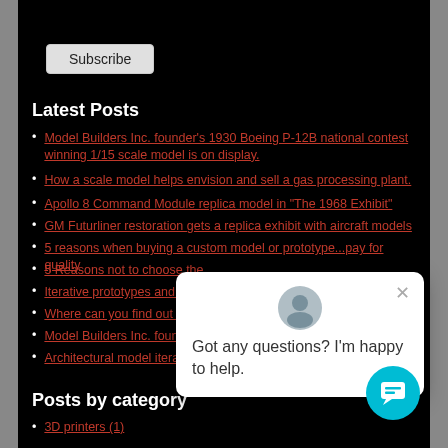[Figure (screenshot): White input bar at top of page, partially visible]
Subscribe button
Latest Posts
Model Builders Inc. founder's 1930 Boeing P-12B national contest winning 1/15 scale model is on display.
How a scale model helps envision and sell a gas processing plant.
Apollo 8 Command Module replica model in "The 1968 Exhibit"
GM Futurliner restoration gets a replica exhibit with aircraft models
5 reasons when buying a custom model or prototype...pay for quality
5 Reasons not to choose the...
Iterative prototypes and mode...
Where can you find out abou...
Model Builders Inc. founder is...
Architectural model iterations...
[Figure (screenshot): Chat popup overlay with avatar icon and text 'Got any questions? I'm happy to help.' with close button]
Posts by category
3D printers (1)